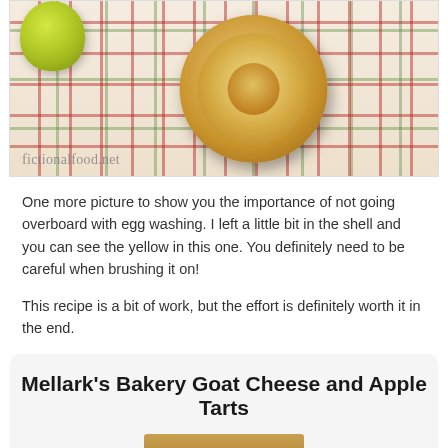[Figure (photo): A small round apple tart on a plaid tablecloth with a watermark 'fictionalfood.net'. An apple is visible in the upper left corner. The tart has a golden-brown pastry shell filled with diced apples.]
One more picture to show you the importance of not going overboard with egg washing. I left a little bit in the shell and you can see the yellow in this one. You definitely need to be careful when brushing it on!
This recipe is a bit of work, but the effort is definitely worth it in the end.
Mellark's Bakery Goat Cheese and Apple Tarts
[Figure (photo): Partial photo of another tart or baked item, cropped at bottom of page.]